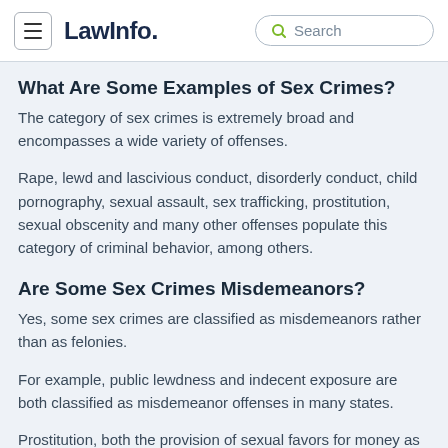LawInfo. Search
What Are Some Examples of Sex Crimes?
The category of sex crimes is extremely broad and encompasses a wide variety of offenses.
Rape, lewd and lascivious conduct, disorderly conduct, child pornography, sexual assault, sex trafficking, prostitution, sexual obscenity and many other offenses populate this category of criminal behavior, among others.
Are Some Sex Crimes Misdemeanors?
Yes, some sex crimes are classified as misdemeanors rather than as felonies.
For example, public lewdness and indecent exposure are both classified as misdemeanor offenses in many states.
Prostitution, both the provision of sexual favors for money as well